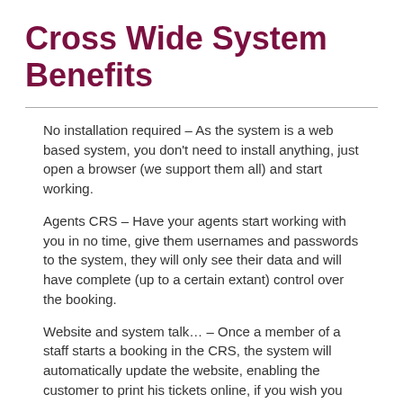Cross Wide System Benefits
No installation required – As the system is a web based system, you don't need to install anything, just open a browser (we support them all) and start working.
Agents CRS – Have your agents start working with you in no time, give them usernames and passwords to the system, they will only see their data and will have complete (up to a certain extant) control over the booking.
Website and system talk… – Once a member of a staff starts a booking in the CRS, the system will automatically update the website, enabling the customer to print his tickets online, if you wish you can set up a booking and have the customer pay online.
Integrated E-mails – Our systems are fully